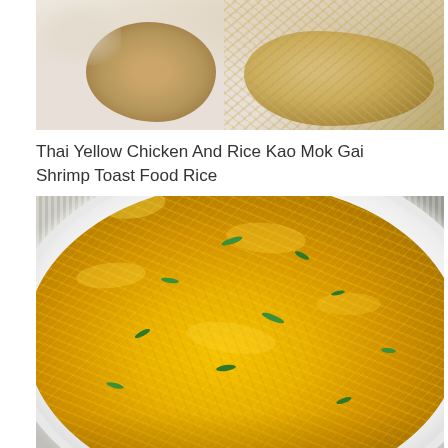[Figure (photo): Top-down photo of Thai yellow chicken and rice (Kao Mok Gai) with shrimp toast, showing golden-brown chicken pieces and yellow rice on a light background]
Thai Yellow Chicken And Rice Kao Mok Gai Shrimp Toast Food Rice
[Figure (photo): Overhead photo of a white bowl filled with bright yellow turmeric rice garnished with sliced green onions, placed on a striped cloth napkin]